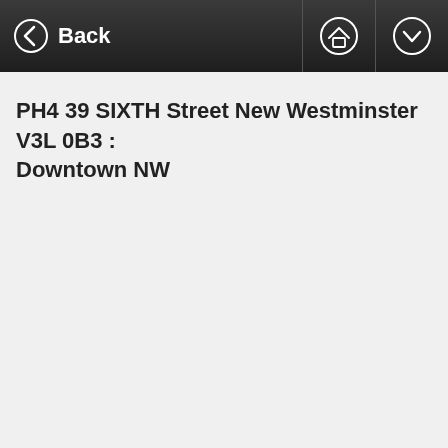Back
PH4 39 SIXTH Street New Westminster V3L 0B3 : Downtown NW